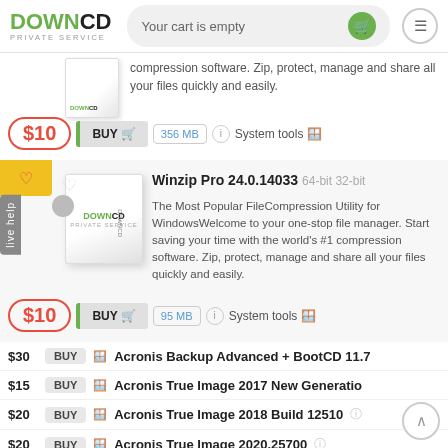DOWNCD PRIVATE SERVICE — Your cart is empty
compression software. Zip, protect, manage and share all your files quickly and easily.
$10   BUY   356 MB   System tools
Winzip Pro 24.0.14033 64-bit 32-bit
The Most Popular FileCompression Utility for WindowsWelcome to your one-stop file manager. Start saving your time with the world's #1 compression software. Zip, protect, manage and share all your files quickly and easily.
$10   BUY   95 MB   System tools
$30   BUY   Acronis Backup Advanced + BootCD 11.7
$15   BUY   Acronis True Image 2017 New Generation
$20   BUY   Acronis True Image 2018 Build 12510
$20   BUY   Acronis True Image 2020.25700
$10   BUY   TechSmith Snagit 13.1.1